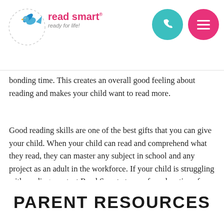[Figure (logo): Read Smart logo with bird illustration, tagline 'ready for life!', phone button (teal circle) and menu button (pink circle)]
bonding time. This creates an overall good feeling about reading and makes your child want to read more.
Good reading skills are one of the best gifts that you can give your child. When your child can read and comprehend what they read, they can master any subject in school and any project as an adult in the workforce. If your child is struggling with reading, contact Read Smart at any of our locations for a free evaluation.
PARENT RESOURCES